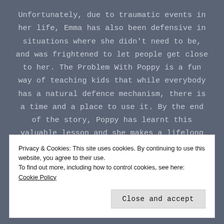Unfortunately, due to traumatic events in her life, Emma has also been defensive in situations where she didn't need to be, and was frightened to let people get close to her. The Problem With Poppy is a fun way of teaching kids that while everybody has a natural defence mechanism, there is a time and a place to use it. By the end of the story, Poppy has learnt this valuable lesson and she makes a lifelong friend in the process.
Emma is planning on writing more books in the
Privacy & Cookies: This site uses cookies. By continuing to use this website, you agree to their use.
To find out more, including how to control cookies, see here: Cookie Policy
Close and accept